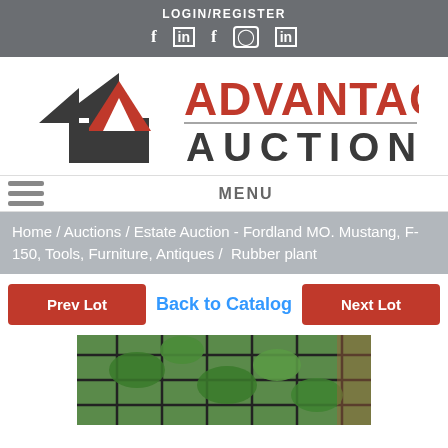LOGIN/REGISTER
[Figure (logo): Social media icons: f, in, f, instagram, in on dark gray bar]
[Figure (logo): Advantage Auction logo with stylized A icon and bold red ADVANTAGE AUCTION text]
MENU
Home / Auctions / Estate Auction - Fordland MO. Mustang, F-150, Tools, Furniture, Antiques /  Rubber plant
Prev Lot
Back to Catalog
Next Lot
[Figure (photo): Photo of a rubber plant with green leaves growing on a metal trellis/grid structure]